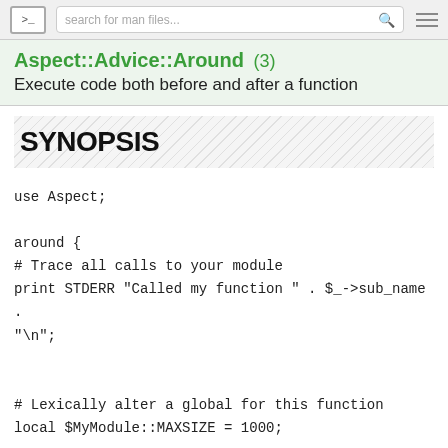>_ | search for man files... | ≡
Aspect::Advice::Around (3)
Execute code both before and after a function
SYNOPSIS
use Aspect;

around {
# Trace all calls to your module
print STDERR "Called my function " . $_->sub_name .
"\n";

# Lexically alter a global for this function
local $MyModule::MAXSIZE = 1000;